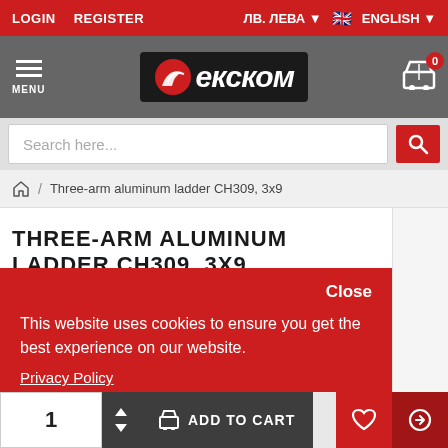LOGIN   REGISTER   ЛВ. ЛЕВА ▼   ENGLISH ▼
[Figure (logo): Ekckom (Ekskom) store logo on dark background with red bird icon]
Search here...
🏠 / Three-arm aluminum ladder CH309, 3x9
THREE-ARM ALUMINUM LADDER CH309, 3X9
Close
This website uses cookies to ensure you get the best experience on our website.
Privacy Policy
Preferences   Accept
1  ADD TO CART